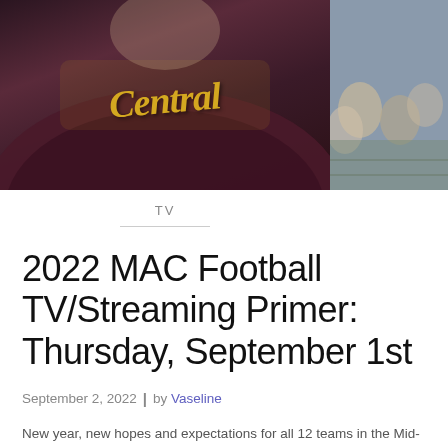[Figure (photo): Photo of a person wearing a maroon and gold 'Central' hoodie on the left, with crowd in the background on the right]
TV
2022 MAC Football TV/Streaming Primer: Thursday, September 1st
September 2, 2022  |  by Vaseline
New year, new hopes and expectations for all 12 teams in the Mid-American